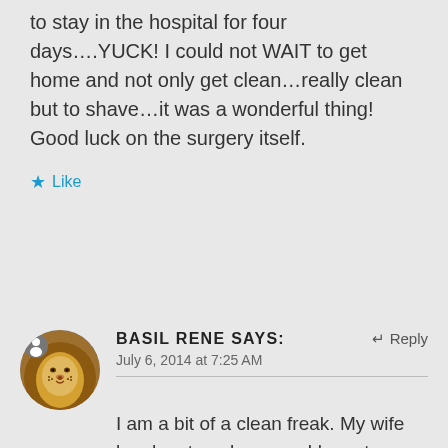to stay in the hospital for four days….YUCK! I could not WAIT to get home and not only get clean…really clean but to shave…it was a wonderful thing! Good luck on the surgery itself.
★ Like
[Figure (photo): Circular avatar photo of a lion's face with mane]
BASIL RENE says: Reply
July 6, 2014 at 7:25 AM
I am a bit of a clean freak. My wife laughs at me because I have to shower in the morning even if I am going to work outside and her dirty. Then I shower again. Shaving I can leave for days so I walk around with